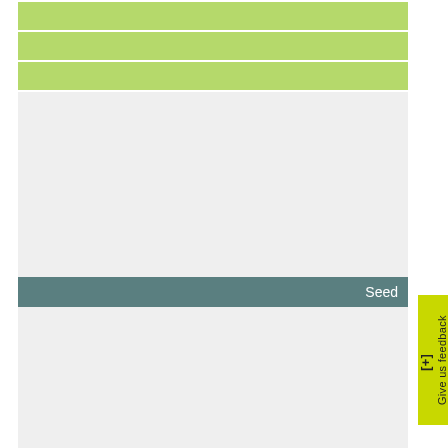[Figure (other): UI screenshot showing a table/list interface with alternating light green rows at top, a gray empty section, a teal header row labeled 'Seed', another gray empty section, and multiple light green rows at the bottom. A yellow-green 'Give us feedback' button with a [+] icon appears on the right side.]